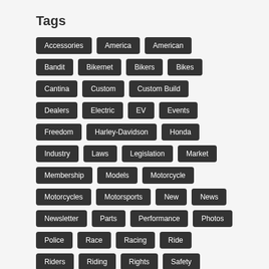Tags
Accessories
America
American
Bandit
Bikernet
Bikers
Bikes
Cantina
Custom
Custom Build
Dealers
Electric
EV
Events
Freedom
Harley-Davidson
Honda
Industry
Laws
Legislation
Market
Membership
Models
Motorcycle
Motorcycles
Motorsports
New
News
Newsletter
Parts
Performance
Photos
Police
Race
Racing
Ride
Riders
Riding
Rights
Safety
Shop
Subscribe
USA
Weekly